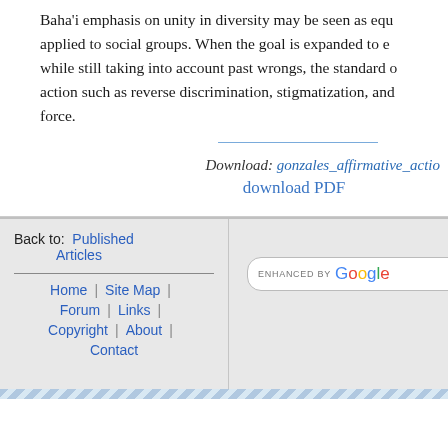Baha'i emphasis on unity in diversity may be seen as equ applied to social groups. When the goal is expanded to e while still taking into account past wrongs, the standard o action such as reverse discrimination, stigmatization, and force.
Download: gonzales_affirmative_actio
download PDF
Back to: Published Articles
Home | Site Map | Forum | Links | Copyright | About | Contact
[Figure (other): ENHANCED BY Google search box]